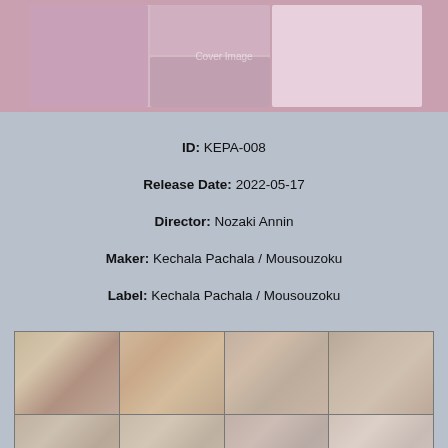[Figure (photo): DVD cover image for KEPA-008, showing a young woman with flowers and text in Japanese]
ID: KEPA-008
Release Date: 2022-05-17
Director: Nozaki Annin
Maker: Kechala Pachala / Mousouzoku
Label: Kechala Pachala / Mousouzoku
[Figure (photo): Grid of 12 thumbnail screenshots from the video content, arranged in 3 rows of 4 columns]